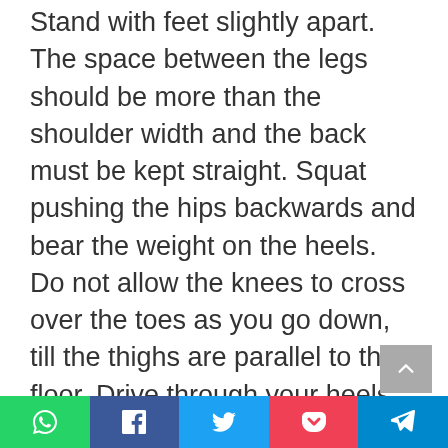Stand with feet slightly apart. The space between the legs should be more than the shoulder width and the back must be kept straight. Squat pushing the hips backwards and bear the weight on the heels. Do not allow the knees to cross over the toes as you go down, till the thighs are parallel to the floor. Drive through your heels as you come back up maintaining the same posture. Initially, this may be practiced with a chair to train the pelvis and back for getting familiar with the squat posture.
[Figure (other): Social sharing bar with WhatsApp, Facebook, Twitter, Pocket, and Telegram buttons]